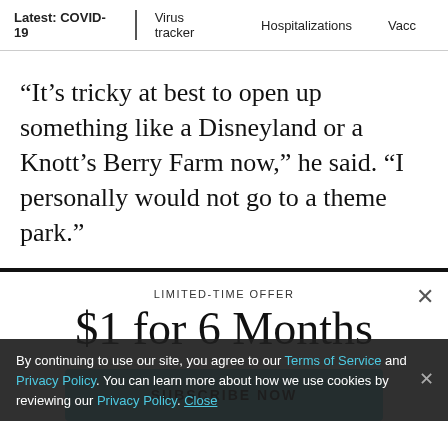Latest: COVID-19  Virus tracker  Hospitalizations  Vacc...
“It’s tricky at best to open up something like a Disneyland or a Knott’s Berry Farm now,” he said. “I personally would not go to a theme park.”
LIMITED-TIME OFFER
$1 for 6 Months
SUBSCRIBE NOW
By continuing to use our site, you agree to our Terms of Service and Privacy Policy. You can learn more about how we use cookies by reviewing our Privacy Policy. Close